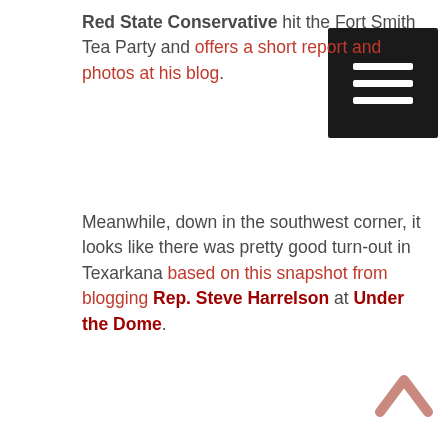Red State Conservative hit the Fort Smith Tea Party and offers a short report and photos at his blog.
Meanwhile, down in the southwest corner, it looks like there was pretty good turn-out in Texarkana based on this snapshot from blogging Rep. Steve Harrelson at Under the Dome.
[Figure (screenshot): Menu/hamburger button overlay (black square with three white horizontal bars) in the top-right area of the page]
[Figure (photo): Broken image placeholder icon (small page with a torn image icon) inside a light grey bordered container]
[Figure (illustration): Scroll-to-top chevron arrow icon (pink/salmon colored upward caret) in the bottom-right corner]